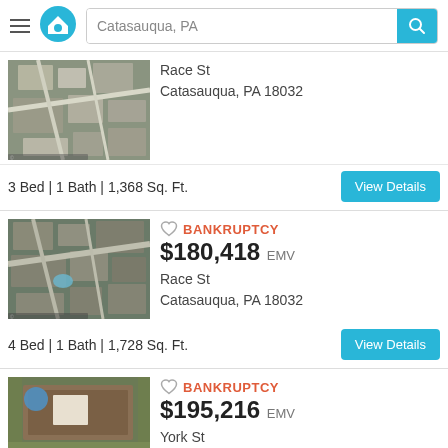Catasauqua, PA
[Figure (photo): Aerial/satellite view of Race St, Catasauqua PA 18032]
Race St
Catasauqua, PA 18032
3 Bed | 1 Bath | 1,368 Sq. Ft.
[Figure (photo): Aerial/satellite view of Race St, Catasauqua PA 18032 - Bankruptcy listing $180,418 EMV]
BANKRUPTCY
$180,418 EMV
Race St
Catasauqua, PA 18032
4 Bed | 1 Bath | 1,728 Sq. Ft.
[Figure (photo): Aerial/satellite view of York St - Bankruptcy listing $195,216 EMV]
BANKRUPTCY
$195,216 EMV
York St